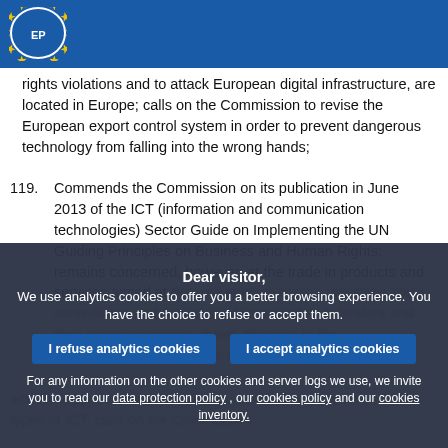European Parliament header bar with logo
rights violations and to attack European digital infrastructure, are located in Europe; calls on the Commission to revise the European export control system in order to prevent dangerous technology from falling into the wrong hands;
119. Commends the Commission on its publication in June 2013 of the ICT (information and communication technologies) Sector Guide on Implementing the UN Guiding Principles on Business and Human Rights; remains concerned, however, at the trade in products and services aimed at denying internet access, enabling mass surveillance and tracking of human rights defenders and their communications; draws attention to the Commission's introduction of controls acknowledging the problems encountered in the export of certain types of ICT; calls on the Commission
Cookie consent overlay: Dear visitor, We use analytics cookies to offer you a better browsing experience. You have the choice to refuse or accept them. Buttons: I refuse analytics cookies | I accept analytics cookies. For any information on the other cookies and server logs we use, we invite you to read our data protection policy, our cookies policy and our cookies inventory.